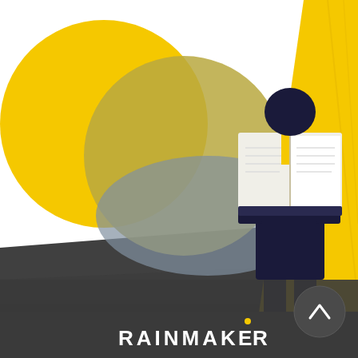[Figure (illustration): Illustrated cover page for Rainmaker. Upper portion shows a white background with large overlapping circles in yellow, gold/olive, and grey/blue-grey. On the right side, a figure in a dark navy suit stands holding an open book, with a large yellow diagonal shape behind them suggesting a spotlight or cape. The lower half of the image is a dark charcoal/dark grey floor. In the bottom right corner is a circular button with an upward chevron. At the bottom center is the RAINMAKER logo in white capital letters with a small yellow dot above the E.]